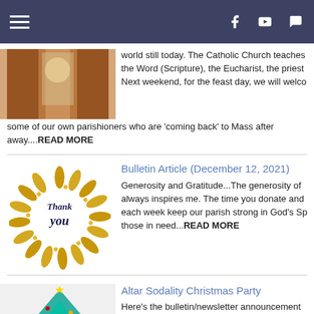Navigation bar with hamburger menu, Facebook, YouTube, and chat icons
world still today. The Catholic Church teaches the Word (Scripture), the Eucharist, the priest Next weekend, for the feast day, we will welco some of our own parishioners who are 'coming back' to Mass after away....READ MORE
Bulletin Article (December 12, 2021)
Generosity and Gratitude...The generosity of always inspires me. The time you donate and each week keep our parish strong in God's Sp those in need...READ MORE
Altar Sodality Christmas Party
Here's the bulletin/newsletter announcement